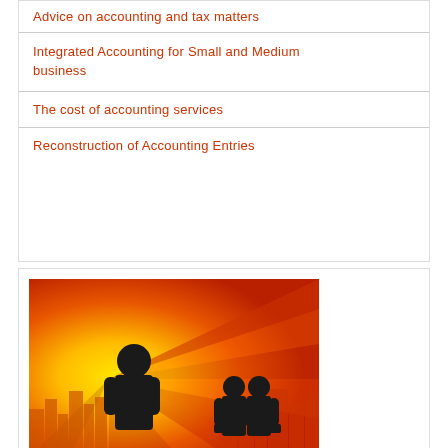Advice on accounting and tax matters
Integrated Accounting for Small and Medium business
The cost of accounting services
Reconstruction of Accounting Entries
[Figure (illustration): Business illustration showing silhouettes of three businessmen against a bright orange and yellow sunburst background with stylized city buildings]